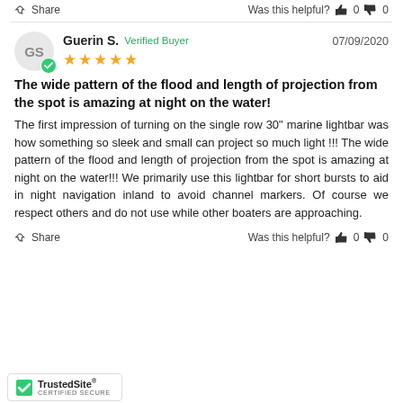Share  Was this helpful?  👍 0  👎 0
Guerin S.  Verified Buyer  07/09/2020  ★★★★★
The wide pattern of the flood and length of projection from the spot is amazing at night on the water!
The first impression of turning on the single row 30" marine lightbar was how something so sleek and small can project so much light !!! The wide pattern of the flood and length of projection from the spot is amazing at night on the water!!! We primarily use this lightbar for short bursts to aid in night navigation inland to avoid channel markers. Of course we respect others and do not use while other boaters are approaching.
Share  Was this helpful?  👍 0  👎 0
[Figure (logo): TrustedSite Certified Secure badge with green checkmark]